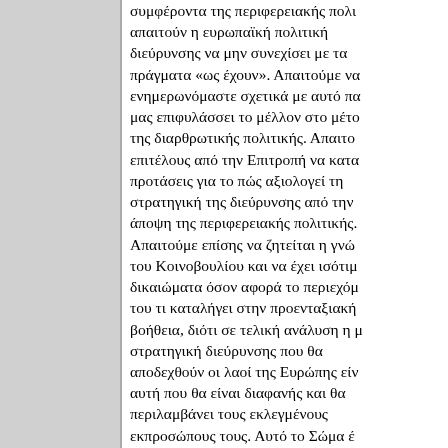συμφέροντα της περιφερειακής πολιτικής απαιτούν η ευρωπαϊκή πολιτική διεύρυνσης να μην συνεχίσει με τα πράγματα «ως έχουν». Απαιτούμε να ενημερωνόμαστε σχετικά με αυτό που μας επιφυλάσσει το μέλλον στο μέτρο της διαρθρωτικής πολιτικής. Απαιτούμε επιτέλους από την Επιτροπή να κατατεθούν προτάσεις για το πώς αξιολογεί τη στρατηγική της διεύρυνσης από την άποψη της περιφερειακής πολιτικής. Απαιτούμε επίσης να ζητείται η γνώμη του Κοινοβουλίου και να έχει ισότιμα δικαιώματα όσον αφορά το περιεχόμενό του τι καταλήγει στην προενταξιακή βοήθεια, διότι σε τελική ανάλυση η μόνη στρατηγική διεύρυνσης που θα αποδεχθούν οι λαοί της Ευρώπης είναι αυτή που θα είναι διαφανής και θα περιλαμβάνει τους εκλεγμένους εκπροσώπους τους. Αυτό το Σώμα έχει προετοιμάσει το έδαφος σε τρεις τομείς. Πρώτον, καταλήξαμε ουσιαστικά στην κοινή πεποίθηση ότι υπάρχουν σημαντικές θεμελιώδεις αρχές της